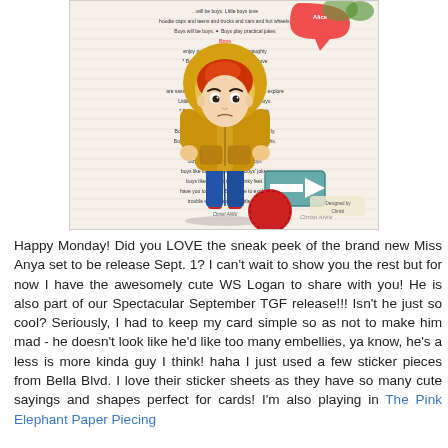[Figure (photo): A handmade greeting card featuring a chibi-style boy character wearing a yellow hoodie and blue jeans, standing against a background of text about boys. The card includes a teal arrow sticker and a red circular element with stitching.]
Happy Monday! Did you LOVE the sneak peek of the brand new Miss Anya set to be release Sept. 1? I can't wait to show you the rest but for now I have the awesomely cute WS Logan to share with you! He is also part of our Spectacular September TGF release!!! Isn't he just so cool? Seriously, I had to keep my card simple so as not to make him mad - he doesn't look like he'd like too many embellies, ya know, he's a less is more kinda guy I think! haha I just used a few sticker pieces from Bella Blvd. I love their sticker sheets as they have so many cute sayings and shapes perfect for cards! I'm also playing in The Pink Elephant Paper Piecing...